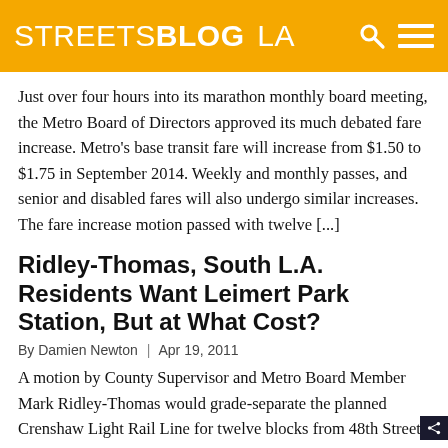STREETSBLOG LA
Just over four hours into its marathon monthly board meeting, the Metro Board of Directors approved its much debated fare increase. Metro's base transit fare will increase from $1.50 to $1.75 in September 2014. Weekly and monthly passes, and senior and disabled fares will also undergo similar increases. The fare increase motion passed with twelve [...]
Ridley-Thomas, South L.A. Residents Want Leimert Park Station, But at What Cost?
By Damien Newton | Apr 19, 2011
A motion by County Supervisor and Metro Board Member Mark Ridley-Thomas would grade-separate the planned Crenshaw Light Rail Line for twelve blocks from 48th Street to 59th Street along the Crenshaw Corridor and would require the construction of a station at Leimert